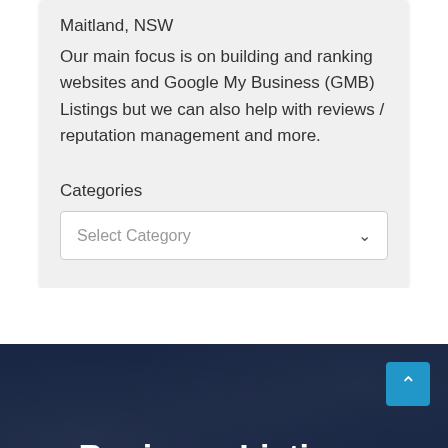Maitland, NSW
Our main focus is on building and ranking websites and Google My Business (GMB) Listings but we can also help with reviews / reputation management and more.
Categories
Select Category
Business Listings